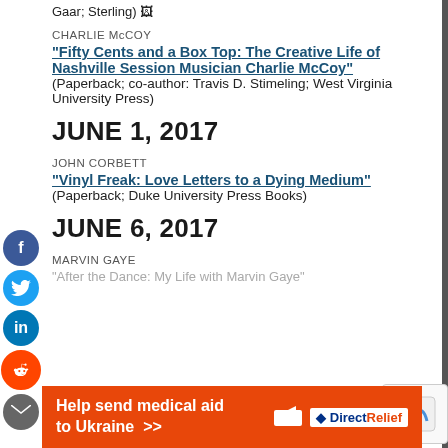Gaar; Sterling)
CHARLIE McCOY
“Fifty Cents and a Box Top: The Creative Life of Nashville Session Musician Charlie McCoy” (Paperback; co-author: Travis D. Stimeling; West Virginia University Press)
JUNE 1, 2017
JOHN CORBETT
“Vinyl Freak: Love Letters to a Dying Medium” (Paperback; Duke University Press Books)
JUNE 6, 2017
MARVIN GAYE
Help send medical aid to Ukraine >> Direct Relief